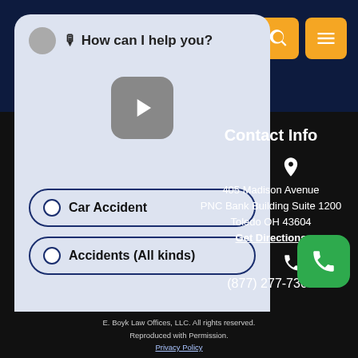How can I help you?
[Figure (screenshot): Navigation icon buttons (phone, search, menu) in orange squares on dark blue header]
[Figure (screenshot): Chatbot interface panel with play button and choice options: Car Accident, Accidents (All kinds)]
Contact Info
405 Madison Avenue
PNC Bank Building Suite 1200
Toledo OH 43604
Get Directions
(877) 277-7306
E. Boyk Law Offices, LLC. All rights reserved.
Reproduced with Permission.
Privacy Policy